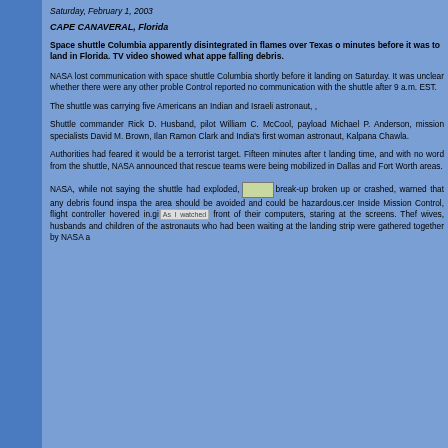Saturday, February 1, 2003
CAPE CANAVERAL, Florida
Space shuttle Columbia apparently disintegrated in flames over Texas o minutes before it was to land in Florida. TV video showed what appe falling debris.
NASA lost communication with space shuttle Columbia shortly before it landing on Saturday. It was unclear whether there were any other proble Control reported no communication with the shuttle after 9 a.m. EST.
The shuttle was carrying five Americans an Indian and Israeli astronaut, ,
Shuttle commander Rick D. Husband, pilot William C. McCool, payload Michael P. Anderson, mission specialists David M. Brown, Ilan Ramon Clark and India's first woman astronaut, Kalpana Chawla.
Authorities had feared it would be a terrorist target. Fifteen minutes after t landing time, and with no word from the shuttle, NASA announced that rescue teams were being mobilized in Dallas and Fort Worth areas.
NASA, while not saying the shuttle had exploded, break-up broken up or crashed, warned that any debris found inspa the area should be avoided and could be hazardous.cer Inside Mission Control, flight controller hovered in.gi front of their computers, staring at the screens. Thef wives, husbands and children of the astronauts who had been waiting at the landing strip were gathered together by NASA a